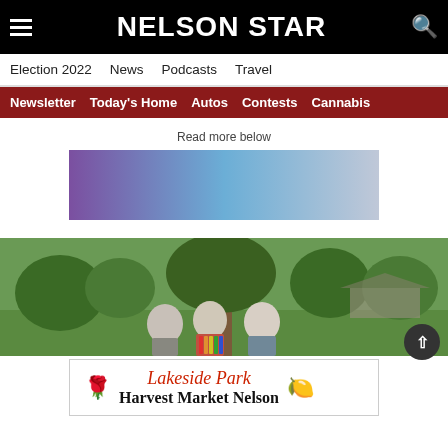NELSON STAR
Election 2022  News  Podcasts  Travel
Newsletter  Today's Home  Autos  Contests  Cannabis
Read more below
[Figure (other): Advertisement banner with purple-to-blue-to-grey gradient]
[Figure (photo): Three people standing outdoors in a park under a tree; a woman with long grey hair, a younger man with a moustache wearing a rainbow-coloured garment, and an older man]
[Figure (other): Advertisement for Lakeside Park, Harvest Market Nelson with decorative pumpkin and gourd motifs]